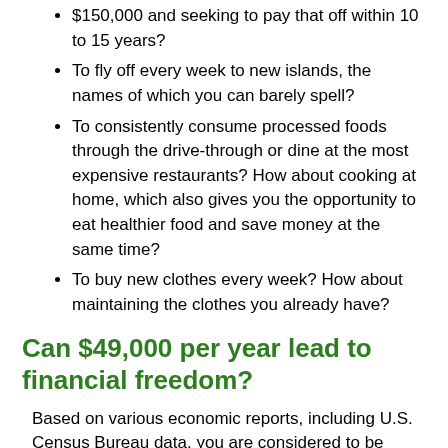$150,000 and seeking to pay that off within 10 to 15 years?
To fly off every week to new islands, the names of which you can barely spell?
To consistently consume processed foods through the drive-through or dine at the most expensive restaurants? How about cooking at home, which also gives you the opportunity to eat healthier food and save money at the same time?
To buy new clothes every week? How about maintaining the clothes you already have?
Can $49,000 per year lead to financial freedom?
Based on various economic reports, including U.S. Census Bureau data, you are considered to be middle class if, as an individual income earner